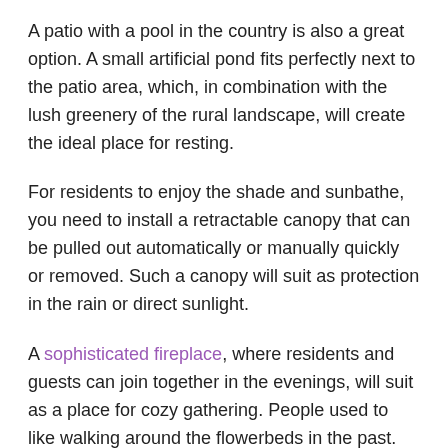A patio with a pool in the country is also a great option. A small artificial pond fits perfectly next to the patio area, which, in combination with the lush greenery of the rural landscape, will create the ideal place for resting.
For residents to enjoy the shade and sunbathe, you need to install a retractable canopy that can be pulled out automatically or manually quickly or removed. Such a canopy will suit as protection in the rain or direct sunlight.
A sophisticated fireplace, where residents and guests can join together in the evenings, will suit as a place for cozy gathering. People used to like walking around the flowerbeds in the past. But now, most prefer to create a cozy fireplace and bring out their wild nature. Enjoy talks and music in the open space, next to an outdoor fireplace. It creates a mysterious, warm and cozy atmosphere in the courtyard.